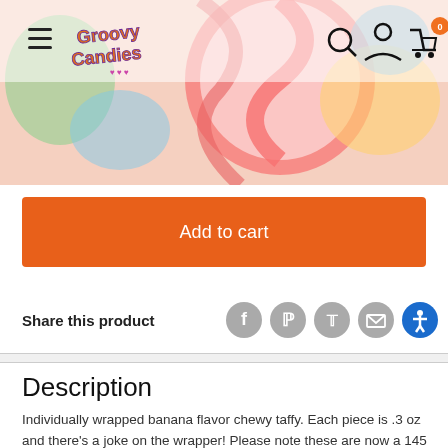[Figure (photo): Groovy Candies website header with logo, hamburger menu, search, account, cart icons, and colorful candy background image with lollipops]
Add to cart
Share this product
Description
Individually wrapped banana flavor chewy taffy. Each piece is .3 oz and there's a joke on the wrapper! Please note these are now a 145 ct jar.